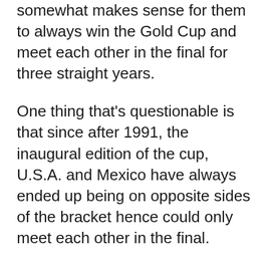somewhat makes sense for them to always win the Gold Cup and meet each other in the final for three straight years.
One thing that's questionable is that since after 1991, the inaugural edition of the cup, U.S.A. and Mexico have always ended up being on opposite sides of the bracket hence could only meet each other in the final.
What are the odds of two teams to only be able to play each other in the final for 14 straight editions of a competition? Soccer fans on social media have a case.
Now let's jump to the elephant in the room: Mexico's penalty versus Haiti. Haitian defender Jems Geffrard